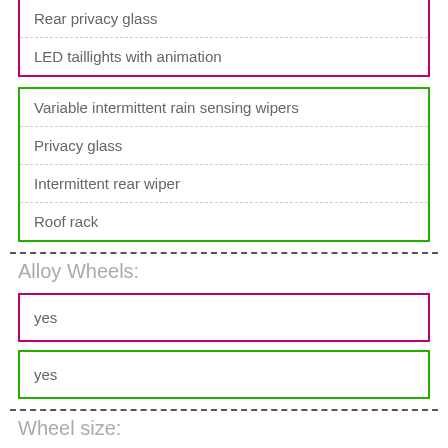Rear privacy glass
LED taillights with animation
Variable intermittent rain sensing wipers
Privacy glass
Intermittent rear wiper
Roof rack
Alloy Wheels:
yes
yes
Wheel size: